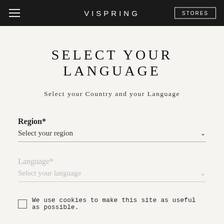VISPRING | STORES
SELECT YOUR LANGUAGE
Select your Country and your Language
Region*
Select your region
Language*
Select your language
We use cookies to make this site as useful as possible.